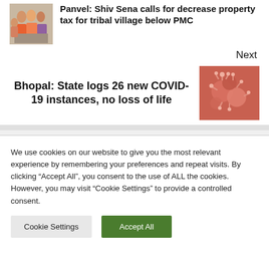[Figure (photo): Group of people at an event, appearing to exchange documents]
Panvel: Shiv Sena calls for decrease property tax for tribal village below PMC
Next
Bhopal: State logs 26 new COVID-19 instances, no loss of life
[Figure (photo): Microscopic image of COVID-19 virus particles in red/pink tones]
We use cookies on our website to give you the most relevant experience by remembering your preferences and repeat visits. By clicking “Accept All”, you consent to the use of ALL the cookies. However, you may visit “Cookie Settings” to provide a controlled consent.
Cookie Settings
Accept All